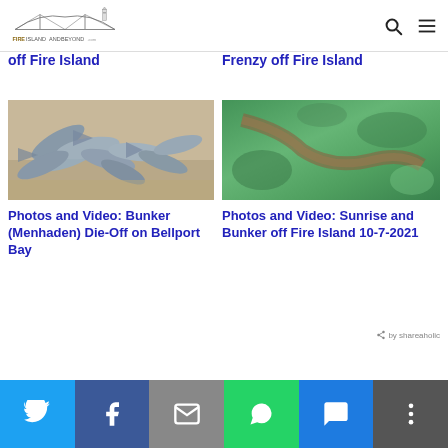[Figure (logo): Fire Island and Beyond website logo with bridge/lighthouse illustration]
off Fire Island
Frenzy off Fire Island
[Figure (photo): Dead bunker (menhaden) fish washed up on sandy beach]
[Figure (photo): Aerial view of green water/wetlands showing bunker fish school from above]
Photos and Video: Bunker (Menhaden) Die-Off on Bellport Bay
Photos and Video: Sunrise and Bunker off Fire Island 10-7-2021
by shareaholic